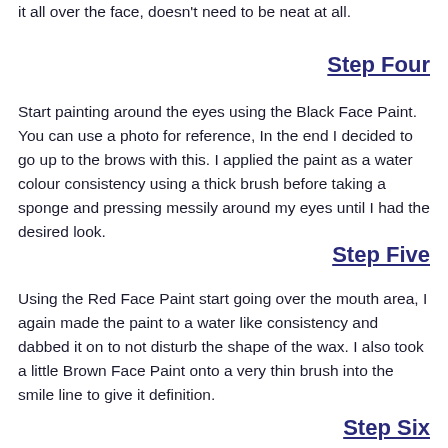it all over the face, doesn't need to be neat at all.
Step Four
Start painting around the eyes using the Black Face Paint. You can use a photo for reference, In the end I decided to go up to the brows with this. I applied the paint as a water colour consistency using a thick brush before taking a sponge and pressing messily around my eyes until I had the desired look.
Step Five
Using the Red Face Paint start going over the mouth area, I again made the paint to a water like consistency and dabbed it on to not disturb the shape of the wax. I also took a little Brown Face Paint onto a very thin brush into the smile line to give it definition.
Step Six